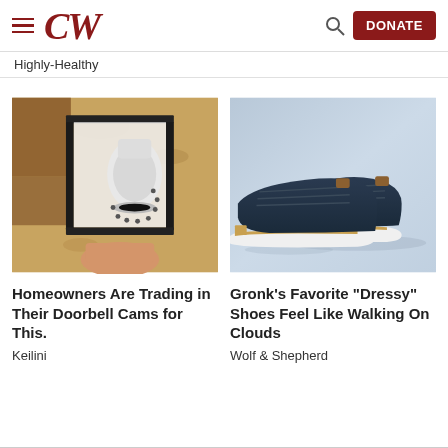CW | DONATE
Highly-Healthy
[Figure (photo): Security camera installed in outdoor wall lantern fixture]
Homeowners Are Trading in Their Doorbell Cams for This.
Keilini
[Figure (photo): Navy blue dressy sneakers by Wolf & Shepherd on light blue background]
Gronk's Favorite "Dressy" Shoes Feel Like Walking On Clouds
Wolf & Shepherd